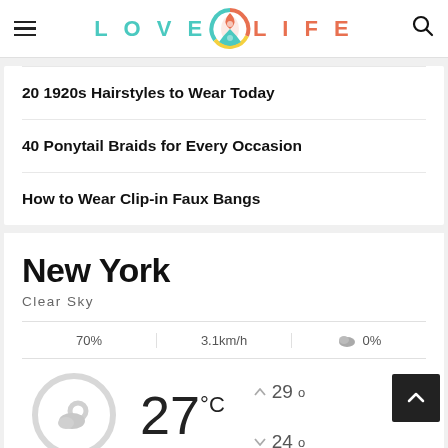LOVE LIFE
20 1920s Hairstyles to Wear Today
40 Ponytail Braids for Every Occasion
How to Wear Clip-in Faux Bangs
New York
Clear Sky
70%  3.1km/h  0%
27°C  ↑ 29°  ↓ 24°